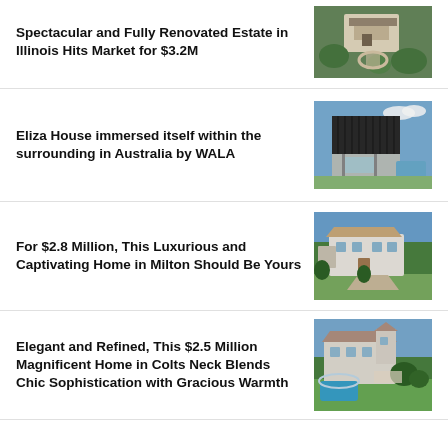Spectacular and Fully Renovated Estate in Illinois Hits Market for $3.2M
[Figure (photo): Aerial view of a large renovated estate in Illinois with circular driveway and lush greenery]
Eliza House immersed itself within the surrounding in Australia by WALA
[Figure (photo): Modern dark-clad house (Eliza House) in Australia designed by WALA, with open lower level and pool]
For $2.8 Million, This Luxurious and Captivating Home in Milton Should Be Yours
[Figure (photo): Aerial view of a large white luxurious home in Milton surrounded by trees and landscaping]
Elegant and Refined, This $2.5 Million Magnificent Home in Colts Neck Blends Chic Sophistication with Gracious Warmth
[Figure (photo): Aerial view of a large elegant home in Colts Neck with pool and extensive landscaping]